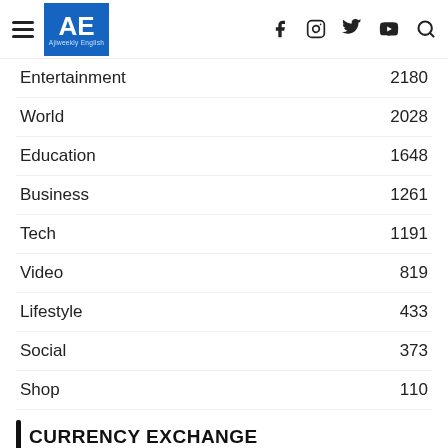AE Ajiweekly English
Entertainment 2180
World 2028
Education 1648
Business 1261
Tech 1191
Video 819
Lifestyle 433
Social 373
Shop 110
CURRENCY EXCHANGE
CAD - Canadian Dollar
INR 0.0165